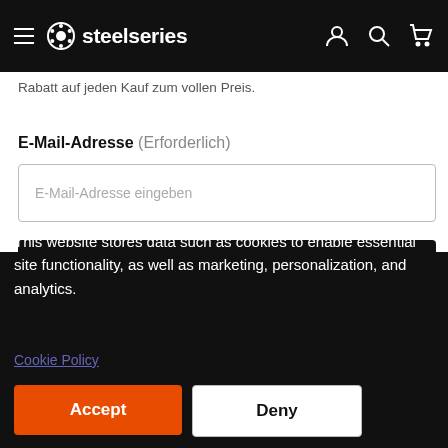steelseries
Rabatt auf jeden Kauf zum vollen Preis.
E-Mail-Adresse (Erforderlich)
E-Mail-Adresse eingeben
Abonnieren
This website stores data such as cookies to enable essential site functionality, as well as marketing, personalization, and analytics.
Cookie Policy
Accept
Deny